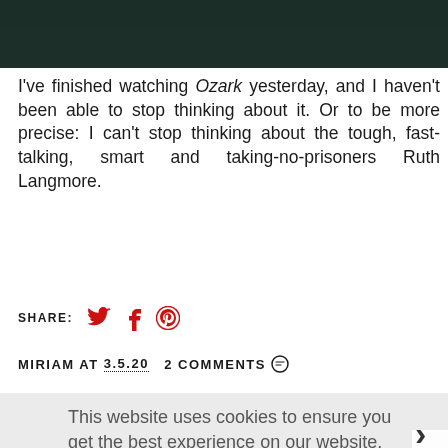[Figure (photo): Dark background photo at top, cropped portrait]
I've finished watching Ozark yesterday, and I haven't been able to stop thinking about it. Or to be more precise: I can't stop thinking about the tough, fast-talking, smart and taking-no-prisoners Ruth Langmore.
SHARE: [twitter] [facebook] [pinterest]
MIRIAM AT 3.5.20   2 COMMENTS
This website uses cookies to ensure you get the best experience on our website.
Learn more
Got it!